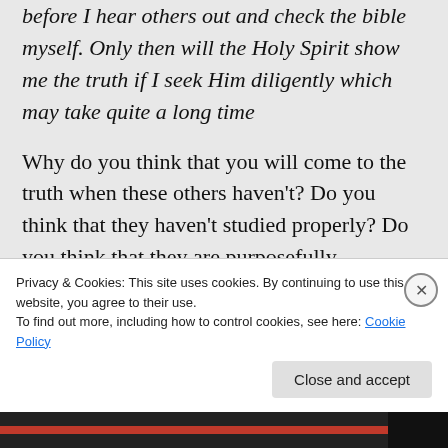before I hear others out and check the bible myself. Only then will the Holy Spirit show me the truth if I seek Him diligently which may take quite a long time
Why do you think that you will come to the truth when these others haven't? Do you think that they haven't studied properly? Do you think that they are purposefully misleading people? When you come to your own conclusions, are you certain that
Privacy & Cookies: This site uses cookies. By continuing to use this website, you agree to their use.
To find out more, including how to control cookies, see here: Cookie Policy